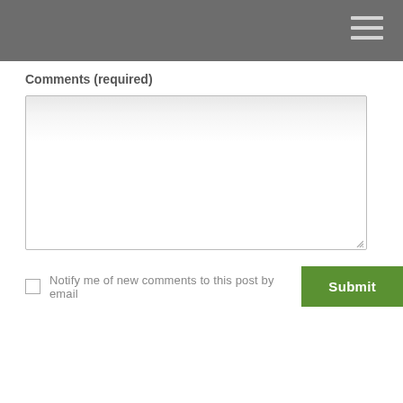Comments (required)
[Figure (screenshot): Empty textarea input box with resize handle in bottom-right corner]
Notify me of new comments to this post by email
Submit